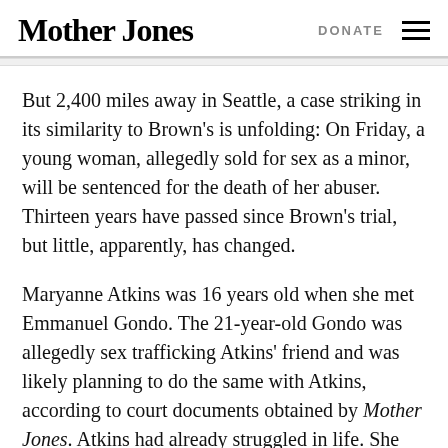Mother Jones | DONATE
But 2,400 miles away in Seattle, a case striking in its similarity to Brown's is unfolding: On Friday, a young woman, allegedly sold for sex as a minor, will be sentenced for the death of her abuser. Thirteen years have passed since Brown's trial, but little, apparently, has changed.
Maryanne Atkins was 16 years old when she met Emmanuel Gondo. The 21-year-old Gondo was allegedly sex trafficking Atkins' friend and was likely planning to do the same with Atkins, according to court documents obtained by Mother Jones. Atkins had already struggled in life. She went in and out of the foster system, beginning at age four, due to